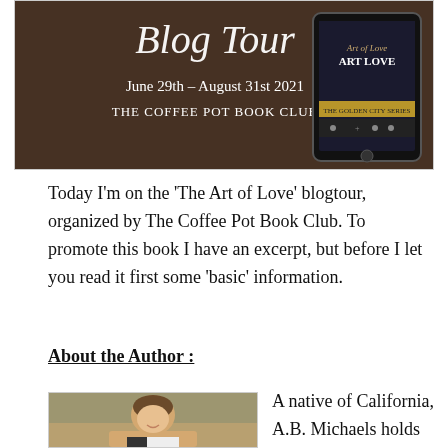[Figure (illustration): Blog Tour banner for 'The Art of Love' by The Coffee Pot Book Club, June 29th – August 31st 2021, showing book cover on a tablet device against a dark brown background]
Today I'm on the 'The Art of Love' blogtour, organized by The Coffee Pot Book Club. To promote this book I have an excerpt, but before I let you read it first some 'basic' information.
About the Author :
[Figure (photo): Portrait photo of author A.B. Michaels, a woman with short brown hair smiling outdoors]
A native of California, A.B. Michaels holds masters'